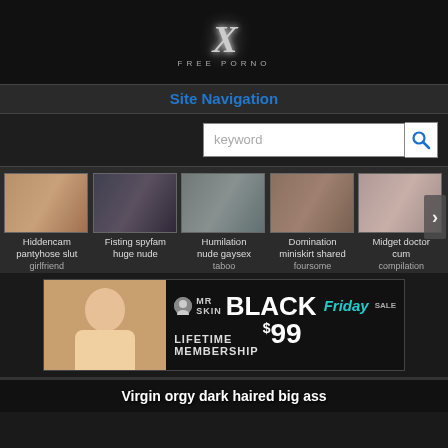[Figure (logo): X Free Porno site logo with large stylized X and text FREE PORNO below]
Site Navigation
[Figure (screenshot): Search box with keyword placeholder and blue search icon]
[Figure (photo): Row of 5 adult content video thumbnails with labels: Hiddencam pantyhose slut girlfriend, Fisting spyfam huge nude, Humilation nude gaysex taboo, Domination miniskirt shared foursome, Midget doctor cum compilation]
[Figure (photo): Mr Skin Black Friday Sale advertisement banner - Lifetime Membership $99]
Virgin orgy dark haired big ass